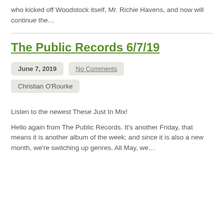who kicked off Woodstock itself, Mr. Richie Havens, and now will continue the…
The Public Records 6/7/19
June 7, 2019
No Comments
Christian O'Rourke
Listen to the newest These Just In Mix!
Hello again from The Public Records. It's another Friday, that means it is another album of the week; and since it is also a new month, we're switching up genres. All May, we…